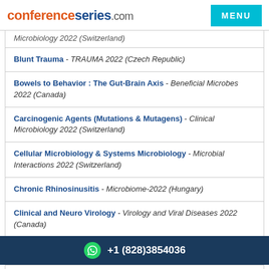conferenceseries.com
Microbiology 2022 (Switzerland)
Blunt Trauma - TRAUMA 2022 (Czech Republic)
Bowels to Behavior: The Gut-Brain Axis - Beneficial Microbes 2022 (Canada)
Carcinogenic Agents (Mutations & Mutagens) - Clinical Microbiology 2022 (Switzerland)
Cellular Microbiology & Systems Microbiology - Microbial Interactions 2022 (Switzerland)
Chronic Rhinosinusitis - Microbiome-2022 (Hungary)
Clinical and Neuro Virology - Virology and Viral Diseases 2022 (Canada)
+1 (828)3854036
Interactions 2022 (Switzerland)